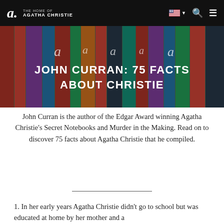THE HOME OF AGATHA CHRISTIE
[Figure (screenshot): Navigation bar with Agatha Christie logo on left and flag/search/menu icons on right against black background]
JOHN CURRAN: 75 FACTS ABOUT CHRISTIE
[Figure (photo): Background of colorful Agatha Christie book spines]
John Curran is the author of the Edgar Award winning Agatha Christie's Secret Notebooks and Murder in the Making. Read on to discover 75 facts about Agatha Christie that he compiled.
1. In her early years Agatha Christie didn't go to school but was educated at home by her mother and a